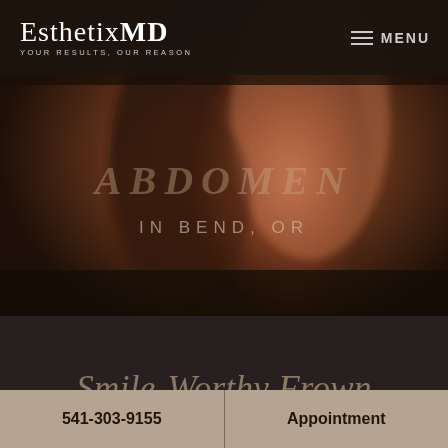EsthetixMD — YOUR RESULTS, OUR REASON | MENU
[Figure (photo): Blurred close-up photo of a person's midsection/abdomen area with warm brown tones, overlaid with semi-transparent text reading ABDOMEN and IN BEND, OR]
Smile-Worthy Frown Fixer
541-303-9155
Appointment